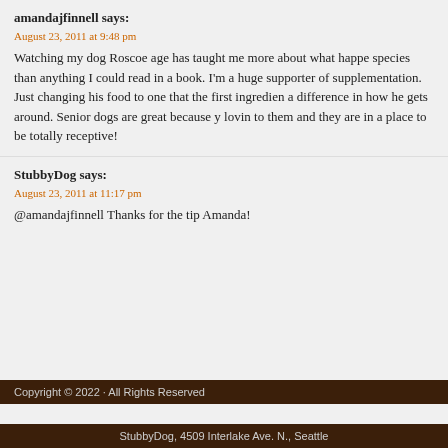amandajfinnell says:
August 23, 2011 at 9:48 pm
Watching my dog Roscoe age has taught me more about what happe... species than anything I could read in a book. I'm a huge supporter of... supplementation. Just changing his food to one that the first ingredien... a difference in how he gets around. Senior dogs are great because y... lovin to them and they are in a place to be totally receptive!
StubbyDog says:
August 23, 2011 at 11:17 pm
@amandajfinnell Thanks for the tip Amanda!
Copyright © 2022 · All Rights Reserved
StubbyDog, 4509 Interlake Ave. N., Seattle